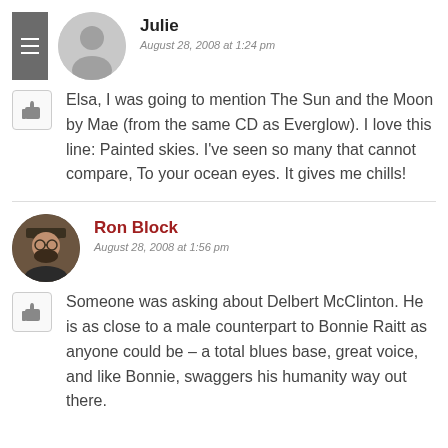Julie
August 28, 2008 at 1:24 pm
Elsa, I was going to mention The Sun and the Moon by Mae (from the same CD as Everglow). I love this line: Painted skies. I've seen so many that cannot compare, To your ocean eyes. It gives me chills!
Ron Block
August 28, 2008 at 1:56 pm
Someone was asking about Delbert McClinton. He is as close to a male counterpart to Bonnie Raitt as anyone could be – a total blues base, great voice, and like Bonnie, swaggers his humanity way out there.